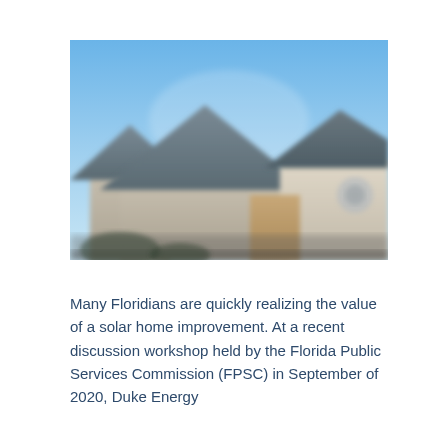[Figure (photo): Blurred photograph of residential houses with rooftops visible against a clear blue sky. The homes appear to have solar panels on the roofs.]
Many Floridians are quickly realizing the value of a solar home improvement. At a recent  discussion workshop held by the Florida Public Services Commission (FPSC) in September of 2020, Duke Energy